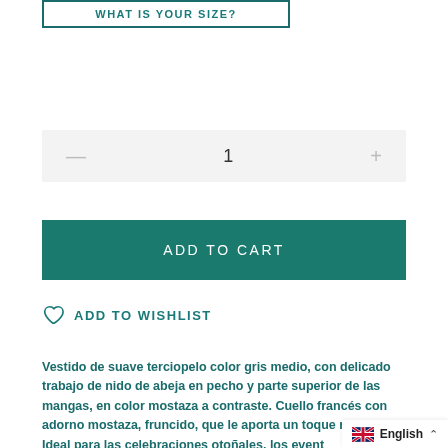WHAT IS YOUR SIZE?
— 1 +
ADD TO CART
ADD TO WISHLIST
Vestido de suave terciopelo color gris medio, con delicado trabajo de nido de abeja en pecho y parte superior de las mangas, en color mostaza a contraste. Cuello francés con adorno mostaza, fruncido, que le aporta un toque romántico. Ideal para las celebraciones otoñales, los event
English